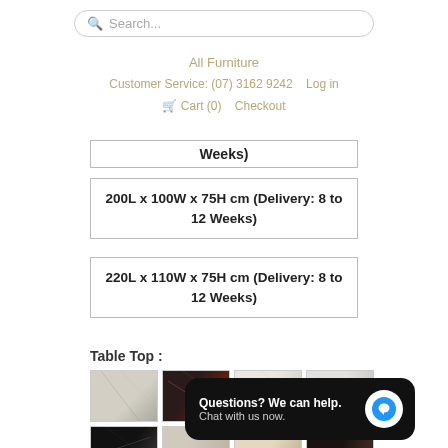Search...
All Furniture
Customer Service: (07) 3162 9242   Log in
Cart (0)   Checkout
Weeks)
200L x 100W x 75H cm (Delivery: 8 to 12 Weeks)
220L x 110W x 75H cm (Delivery: 8 to 12 Weeks)
Table Top :
[Figure (photo): Grid of marble table top finish swatches in various colors and patterns]
Questions? We can help. Chat with us now.